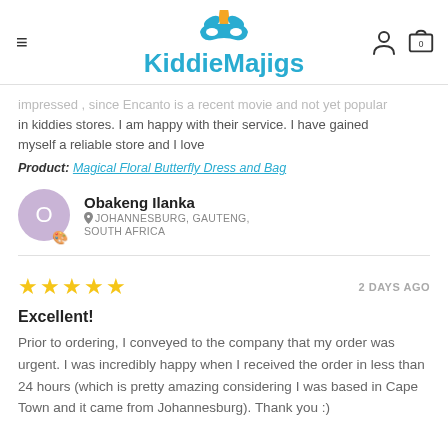KiddieMajigs
impressed , since Encanto is a recent movie and not yet popular in kiddies stores. I am happy with their service. I have gained myself a reliable store and I love
Product: Magical Floral Butterfly Dress and Bag
Obakeng Ilanka
JOHANNESBURG, GAUTENG,
SOUTH AFRICA
★★★★★  2 DAYS AGO
Excellent!
Prior to ordering, I conveyed to the company that my order was urgent. I was incredibly happy when I received the order in less than 24 hours (which is pretty amazing considering I was based in Cape Town and it came from Johannesburg). Thank you :)